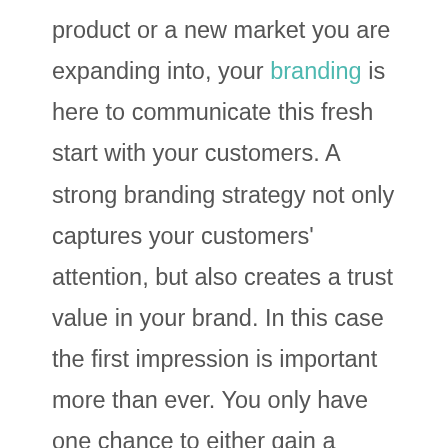product or a new market you are expanding into, your branding is here to communicate this fresh start with your customers. A strong branding strategy not only captures your customers' attention, but also creates a trust value in your brand. In this case the first impression is important more than ever. You only have one chance to either gain a customer for your brand, or turn your potential client to your competition. This is definitely the case when the book is most often being judged by its cover. If the cover doesn't communicate a clear value to your customers from the get go, it will be more and more difficult to capture their attention as time